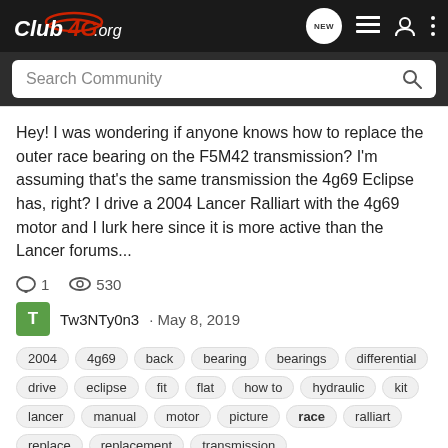Club4G.org navigation bar with logo, NEW, list, user, and menu icons
Search Community
Hey! I was wondering if anyone knows how to replace the outer race bearing on the F5M42 transmission? I'm assuming that's the same transmission the 4g69 Eclipse has, right? I drive a 2004 Lancer Ralliart with the 4g69 motor and I lurk here since it is more active than the Lancer forums...
1 comment, 530 views, by Tw3NTy0n3 · May 8, 2019
2004
4g69
back
bearing
bearings
differential
drive
eclipse
fit
flat
how to
hydraulic
kit
lancer
manual
motor
picture
race
ralliart
replace
replacement
transmission
Technical writeup 4g69 Turbo Engine Build Parts